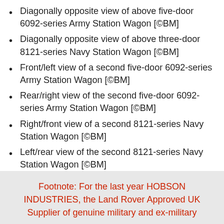Diagonally opposite view of above five-door 6092-series Army Station Wagon [©BM]
Diagonally opposite view of above three-door 8121-series Navy Station Wagon [©BM]
Front/left view of a second five-door 6092-series Army Station Wagon [©BM]
Rear/right view of the second five-door 6092-series Army Station Wagon [©BM]
Right/front view of a second 8121-series Navy Station Wagon [©BM]
Left/rear view of the second 8121-series Navy Station Wagon [©BM]
Footnote: For the last year HOBSON INDUSTRIES, the Land Rover Approved UK Supplier of genuine military and ex-military